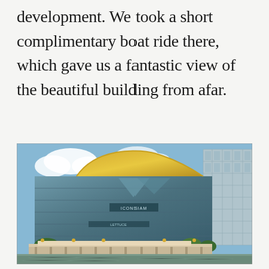development. We took a short complimentary boat ride there, which gave us a fantastic view of the beautiful building from afar.
[Figure (photo): Photograph of a large modern glass building with a distinctive golden curved roof feature, viewed from a river. The building appears to be a mixed-use development (ICONSIAM shopping mall in Bangkok, Thailand) with a waterfront pier/dock area in the foreground. A tall residential or hotel tower is visible to the right. Blue sky with white clouds in the background.]